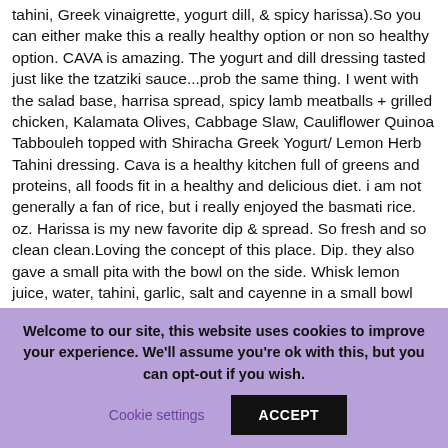tahini, Greek vinaigrette, yogurt dill, & spicy harissa).So you can either make this a really healthy option or non so healthy option. CAVA is amazing. The yogurt and dill dressing tasted just like the tzatziki sauce...prob the same thing. I went with the salad base, harrisa spread, spicy lamb meatballs + grilled chicken, Kalamata Olives, Cabbage Slaw, Cauliflower Quinoa Tabbouleh topped with Shiracha Greek Yogurt/ Lemon Herb Tahini dressing. Cava is a healthy kitchen full of greens and proteins, all foods fit in a healthy and delicious diet. i am not generally a fan of rice, but i really enjoyed the basmati rice. oz. Harissa is my new favorite dip & spread. So fresh and so clean clean.Loving the concept of this place. Dip. they also gave a small pita with the bowl on the side. Whisk lemon juice, water, tahini, garlic, salt and cayenne in a small bowl until smooth. oz. Whatever they are is far from healthy but so very delicious. ... My dressing was the
Welcome to our site, this website uses cookies to improve your experience. We'll assume you're ok with this, but you can opt-out if you wish. Cookie settings ACCEPT